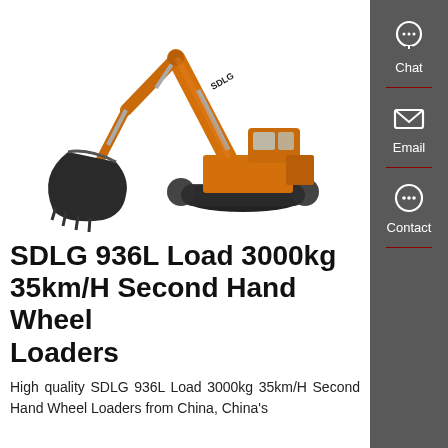[Figure (photo): SDLG branded orange excavator with bucket arm extended, on white background]
SDLG 936L Load 3000kg 35km/H Second Hand Wheel Loaders
High quality SDLG 936L Load 3000kg 35km/H Second Hand Wheel Loaders from China, China's
[Figure (illustration): Sidebar with chat, email, and contact icons on dark grey background]